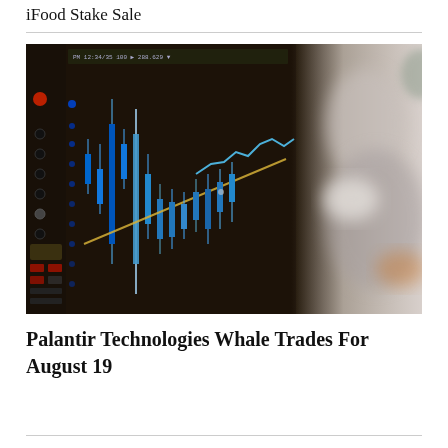iFood Stake Sale
[Figure (photo): Close-up of a financial trading screen displaying candlestick chart with blue and cyan price bars and a diagonal gold/yellow trend line, with a blurred person in business attire visible in the background right.]
Palantir Technologies Whale Trades For August 19